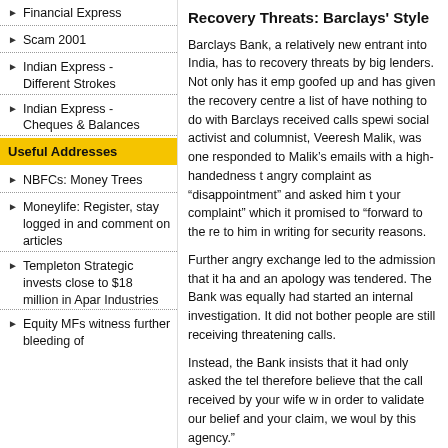Financial Express
Scam 2001
Indian Express - Different Strokes
Indian Express - Cheques & Balances
Useful Addresses
NBFCs: Money Trees
Moneylife: Register, stay logged in and comment on articles
Templeton Strategic invests close to $18 million in Apar Industries
Equity MFs witness further bleeding of
Recovery Threats: Barclays' Style
Barclays Bank, a relatively new entrant into India, has to recovery threats by big lenders. Not only has it emp goofed up and has given the recovery centre a list of have nothing to do with Barclays received calls spewi social activist and columnist, Veeresh Malik, was one responded to Malik's emails with a high-handedness t angry complaint as “disappointment” and asked him t your complaint” which it promised to “forward to the re to him in writing for security reasons.
Further angry exchange led to the admission that it ha and an apology was tendered. The Bank was equally had started an internal investigation. It did not bother people are still receiving threatening calls.
Instead, the Bank insists that it had only asked the tel therefore believe that the call received by your wife w in order to validate our belief and your claim, we woul by this agency.”
The Bank seems to imply that Malik’s wife was not ev threats! Or, it is calling Malik, who heads an IT firm in of the calls. He has also threatened action against MA note, we are not your customers, and what your Bank